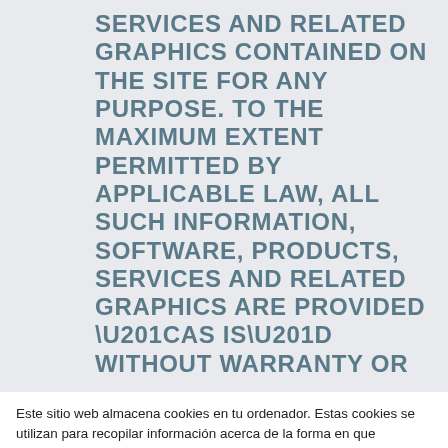SERVICES AND RELATED GRAPHICS CONTAINED ON THE SITE FOR ANY PURPOSE. TO THE MAXIMUM EXTENT PERMITTED BY APPLICABLE LAW, ALL SUCH INFORMATION, SOFTWARE, PRODUCTS, SERVICES AND RELATED GRAPHICS ARE PROVIDED “AS IS” WITHOUT WARRANTY OR
Este sitio web almacena cookies en tu ordenador. Estas cookies se utilizan para recopilar información acerca de la forma en que interactúas con nuestro sitio web y recordarlo. Usamos esta información para personalizar y mejorar tu experiencia de navegación y para realizar análisis y recuento de los visitantes, tanto en este sitio web como a través de otros medios. Para obtener más información sobre las cookies que utilizamos, consulta nuestra Politica de privacidad.
Si no acepta, no realizaremos un seguimiento de su información cuando visite este sitio web. Se usará una única cookie en su navegador para recordar sus preferencias, no para realizar ningún seguimiento.